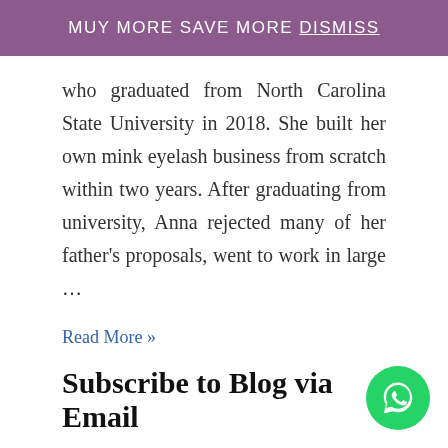MUY MORE SAVE MORE Dismiss
who graduated from North Carolina State University in 2018. She built her own mink eyelash business from scratch within two years. After graduating from university, Anna rejected many of her father's proposals, went to work in large …
Read More »
Subscribe to Blog via Email
Enter your email address to subscribe to this blog and receive notifications of new posts by email